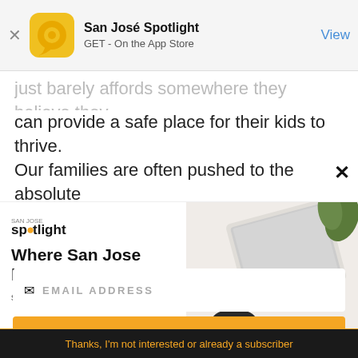[Figure (screenshot): App store banner for San José Spotlight app with golden circular logo, app name 'San José Spotlight', subtitle 'GET - On the App Store', and a blue 'View' button on the right, with a close X on the left]
just barely affords somewhere they believe they can provide a safe place for their kids to thrive.
Our families are often pushed to the absolute
[Figure (advertisement): San José Spotlight advertisement with logo, headline 'Where San Jose locals start the day.', URL 'sanjosespotlight.com', and an image of a tablet and coffee cup on the right side]
[Figure (screenshot): Email subscription widget with white input box labeled EMAIL ADDRESS, yellow SUBSCRIBE button, and yellow text at bottom saying 'Thanks, I'm not interested or already a subscriber']